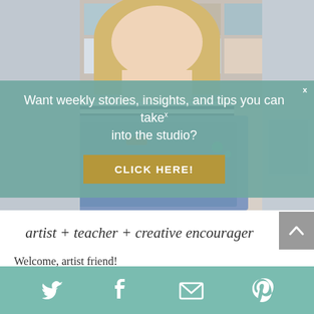[Figure (photo): Photo of a blonde woman in a striped shirt and denim apron in an art studio with paintings on the wall behind her]
Want weekly stories, insights, and tips you can take into the studio?
CLICK HERE!
artist + teacher + creative encourager
Welcome, artist friend!
This website uses cookies to improve your experience. By continuing to use this site, you agree to our use of
Twitter Facebook Email Pinterest social share icons